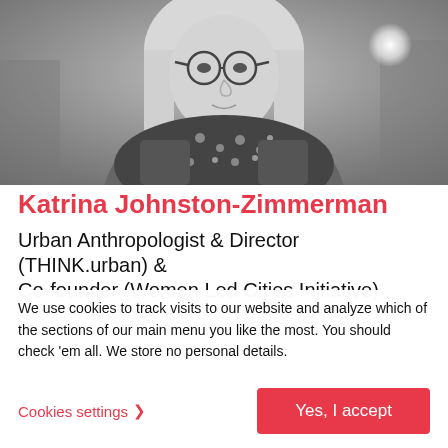[Figure (photo): Black and white portrait photo of a woman with blonde shoulder-length hair, wearing glasses and a patterned scarf, against a blurred urban background]
Katrina Johnston-Zimmerman
Urban Anthropologist & Director (THINK.urban) & Co-founder (Women Led Cities Initiative)
We use cookies to track visits to our website and analyze which of the sections of our main menu you like the most. You should check 'em all. We store no personal details.
Cookies settings ›
Yes, I accept